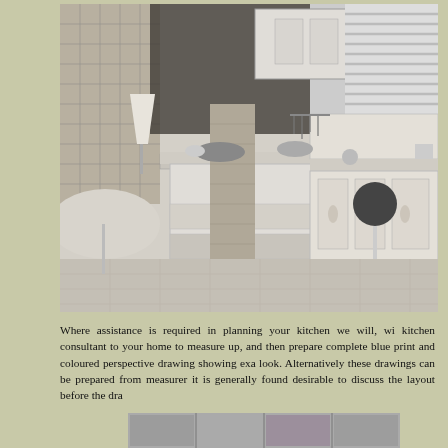[Figure (photo): Black and white photograph of a mid-century modern kitchen with island counter, open shelving, bar stool, wall cabinets, venetian blinds on window, pots and utensils hanging, and a dining table visible at left with food items.]
Where assistance is required in planning your kitchen we will, wi kitchen consultant to your home to measure up, and then prepare complete blue print and coloured perspective drawing showing exa look. Alternatively these drawings can be prepared from measurer it is generally found desirable to discuss the layout before the dra
[Figure (photo): Strip of small black and white kitchen photos at the bottom of the page.]